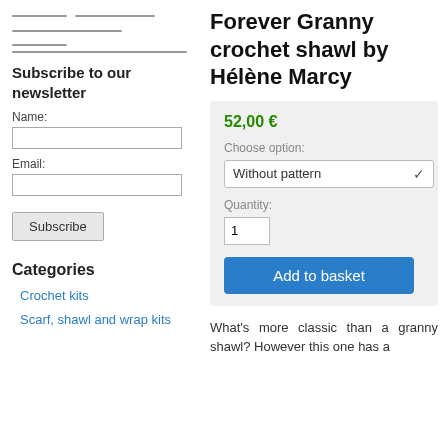[Figure (other): Navigation menu lines (horizontal rules representing a hamburger menu or navigation links)]
Subscribe to our newsletter
Name:
Email:
Subscribe
Categories
Crochet kits
Scarf, shawl and wrap kits
Forever Granny crochet shawl by Hélène Marcy
52,00 €
Choose option:
Without pattern
Quantity:
1
Add to basket
What's more classic than a granny shawl? However this one has a